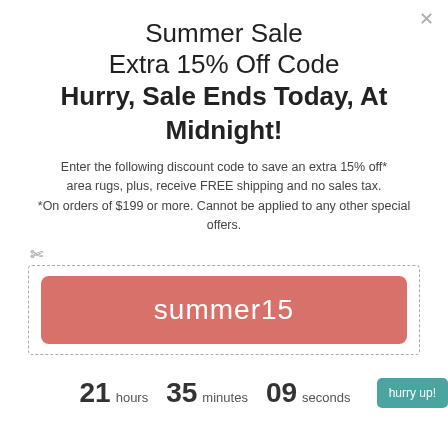Summer Sale
Extra 15% Off Code
Hurry, Sale Ends Today, At Midnight!
Enter the following discount code to save an extra 15% off* area rugs, plus, receive FREE shipping and no sales tax. *On orders of $199 or more. Cannot be applied to any other special offers.
[Figure (other): Coupon code box with dashed border and scissors icon, containing a salmon/red rounded rectangle button with the text 'summer15' in white]
21 hours  35 minutes  09 seconds
hurry up!